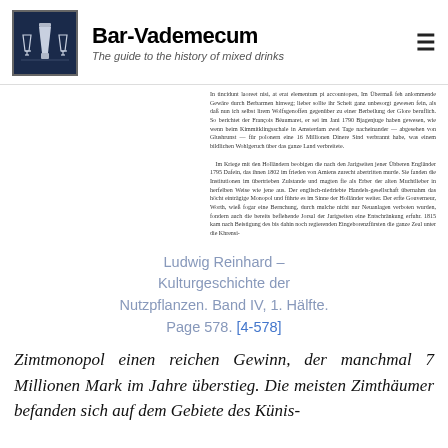Bar-Vademecum – The guide to the history of mixed drinks
[Figure (logo): Bar-Vademecum logo: dark blue square with cocktail shaker and two glasses in white/silver]
In tincidunt laoreet nisi, at erat elementum. Im Übermaß feh anlommende Gewäre durch Berbarmen hinweg; lieber sollte ihr Scheit ganz unbesorgt gewesen fein, als daß nun ich selbst lirem Volksgenoffen gegenüber zu einer Berbeilung der Glore beruflich. So berichtet der François Béaumaret, er sei im Jani 1790 Bjagenjuge haben gewesen, wie wenn beim Kimmitklingsschale in Amsterdam zwei Tage nacheinander — abgesehen von Glushrunst — für polonern eine 16 Millionen Dinere Sind verbrannt habe, was einem bildlichen Wohlgeruch über das ganze Land verbreitete. Im Kriege mit den Holländern beobigen die nach ben Jarigseiten jener Übberen Engländer 1795 Dafein, das ihnen 1802 im frieden von Amiens zurecht abertritten murde. Sie fanden die Institutionen im übertrieben Zulstande und magten fie als Erber der alten Muchtlieber in herfelben Weise wie jene aus. Der englisch-niedriebte Handels-gesellschaft übernahm das höcht einträgige Monopol und führte es im Sinne der Holländer weiter. Der erfte Gouverneur, Worth, wieß fogar eine Bernchung, durch mulche nicht nur Neuanlagen verboten wurden, fondern auch die bereits beflehende Jorsal der Jarigseiten eine Entschränkung erfuhr. 1815 kam nach Beistigung des bis dahin noch regierenden Eingeborenzfürsten die ganze Zeal unter die Khrensi-
Ludwig Reinhard – Kulturgeschichte der Nutzpflanzen. Band IV, 1. Hälfte. Page 578. [4-578]
Zimtmonopol einen reichen Gewinn, der manchmal 7 Millionen Mark im Jahre überstieg. Die meisten Zimthäumer befanden sich auf dem Gebiete des Künis-